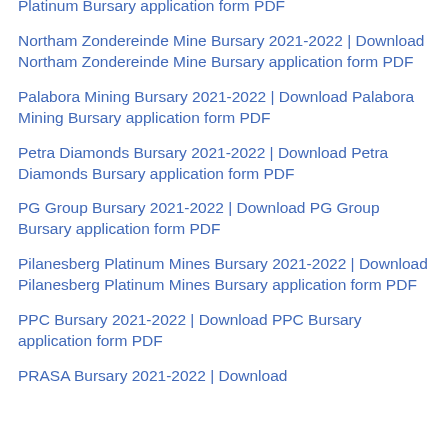Platinum Bursary application form PDF
Northam Zondereinde Mine Bursary 2021-2022 | Download Northam Zondereinde Mine Bursary application form PDF
Palabora Mining Bursary 2021-2022 | Download Palabora Mining Bursary application form PDF
Petra Diamonds Bursary 2021-2022 | Download Petra Diamonds Bursary application form PDF
PG Group Bursary 2021-2022 | Download PG Group Bursary application form PDF
Pilanesberg Platinum Mines Bursary 2021-2022 | Download Pilanesberg Platinum Mines Bursary application form PDF
PPC Bursary 2021-2022 | Download PPC Bursary application form PDF
PRASA Bursary 2021-2022 | Download